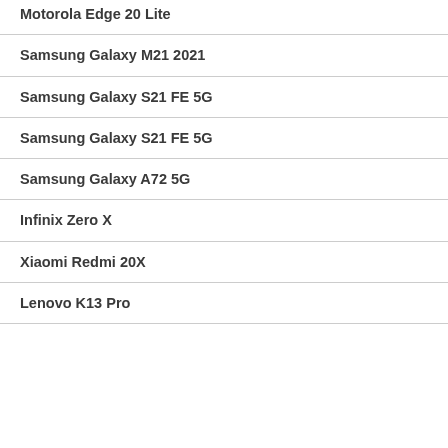Motorola Edge 20 Lite
Samsung Galaxy M21 2021
Samsung Galaxy S21 FE 5G
Samsung Galaxy S21 FE 5G
Samsung Galaxy A72 5G
Infinix Zero X
Xiaomi Redmi 20X
Lenovo K13 Pro